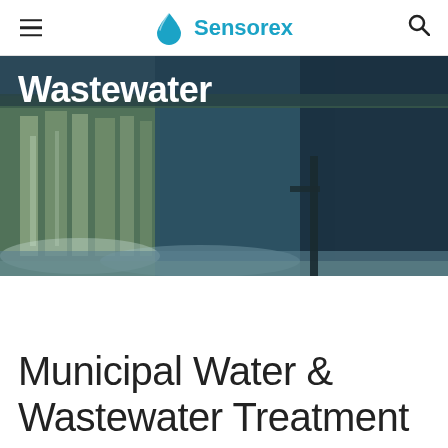Sensorex
[Figure (photo): Waterfall or weir water treatment facility, showing flowing water over a dam structure with greenish-blue tones]
Wastewater
Municipal Water & Wastewater Treatment